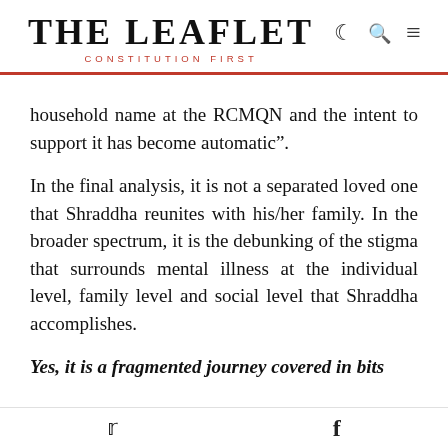THE LEAFLET — CONSTITUTION FIRST
household name at the RCMQN and the intent to support it has become automatic”.
In the final analysis, it is not a separated loved one that Shraddha reunites with his/her family. In the broader spectrum, it is the debunking of the stigma that surrounds mental illness at the individual level, family level and social level that Shraddha accomplishes.
Yes, it is a fragmented journey covered in bits
Twitter  Facebook